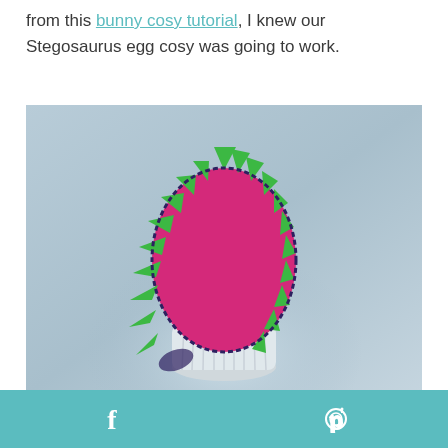from this bunny cosy tutorial, I knew our Stegosaurus egg cosy was going to work.
[Figure (photo): A Stegosaurus-themed egg cosy made of pink felt with green dinosaur spines along the top and sides, sitting in a white ribbed egg cup. The background is a soft blue-grey gradient.]
f  p